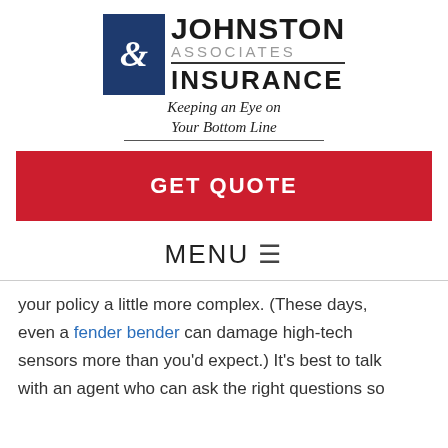[Figure (logo): Johnston & Associates Insurance logo with blue square containing ampersand, company name, and tagline 'Keeping an Eye on Your Bottom Line']
GET QUOTE
MENU ☰
your policy a little more complex. (These days, even a fender bender can damage high-tech sensors more than you'd expect.) It's best to talk with an agent who can ask the right questions so